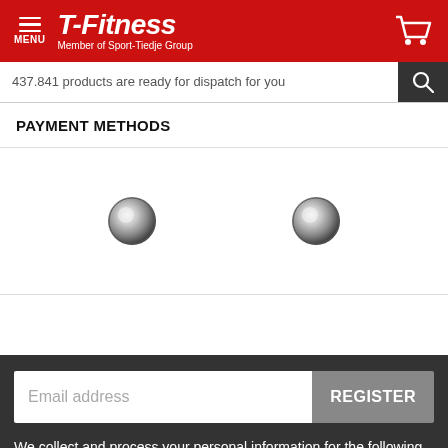[Figure (logo): T-Fitness logo with red background, hamburger menu icon, brand name 'T-Fitness' in white italic bold text, subtitle 'Member of Sport-Tiedje Group', and shopping cart icon]
437.841 products are ready for dispatch for you
PAYMENT METHODS
[Figure (other): Two loading spinner circles (payment method icons loading) on white background]
Email address
REGISTER
We collect and process your personal information for the following purposes: Marketing, Analytics.
Decline
Accept all
Customize...